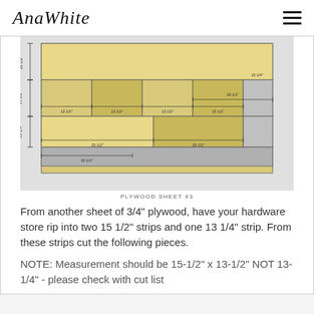AnaWhite
[Figure (engineering-diagram): Plywood sheet cutting diagram showing layout of pieces with dimensions: 15 1/2", 15 1/4", 13 1/4" height strips; widths 13 1/2", 13 1/2", 13 1/2", 15 1/2", 26 1/2"; bottom pieces 25 1/2", 35 1/2", 35 1/2"]
PLYWOOD SHEET #3
From another sheet of 3/4" plywood, have your hardware store rip into two 15 1/2" strips and one 13 1/4" strip. From these strips cut the following pieces.
NOTE: Measurement should be 15-1/2" x 13-1/2" NOT 13-1/4" - please check with cut list